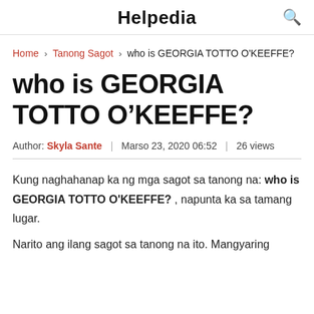Helpedia
Home › Tanong Sagot › who is GEORGIA TOTTO O'KEEFFE?
who is GEORGIA TOTTO O'KEEFFE?
Author: Skyla Sante | Marso 23, 2020 06:52 | 26 views
Kung naghahanap ka ng mga sagot sa tanong na: who is GEORGIA TOTTO O'KEEFFE? , napunta ka sa tamang lugar.
Narito ang ilang sagot sa tanong na ito. Mangyaring